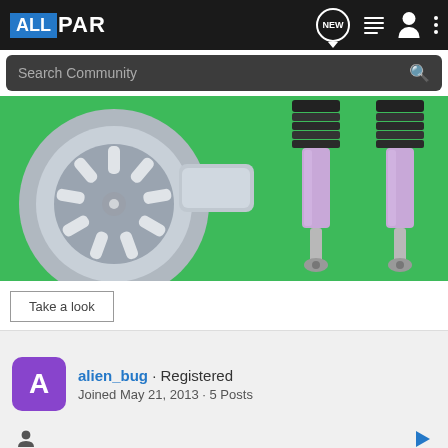ALLPAR
Search Community
[Figure (photo): Green background banner showing a chrome turbocharger on the left and two purple/silver coilover shock absorbers on the right]
Take a look
alien_bug · Registered
Joined May 21, 2013 · 5 Posts
Discu